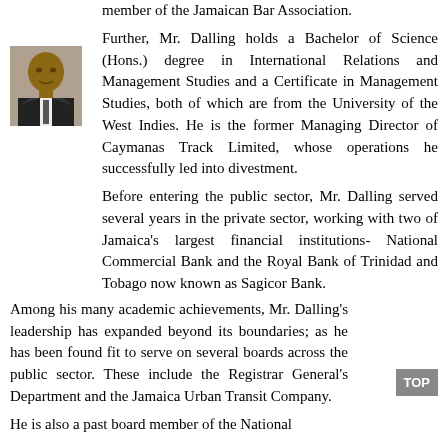member of the Jamaican Bar Association.
[Figure (photo): Headshot photo of Mr. Dalling in suit and tie]
Further, Mr. Dalling holds a Bachelor of Science (Hons.) degree in International Relations and Management Studies and a Certificate in Management Studies, both of which are from the University of the West Indies. He is the former Managing Director of Caymanas Track Limited, whose operations he successfully led into divestment.
Before entering the public sector, Mr. Dalling served several years in the private sector, working with two of Jamaica's largest financial institutions- National Commercial Bank and the Royal Bank of Trinidad and Tobago now known as Sagicor Bank.
Among his many academic achievements, Mr. Dalling's leadership has expanded beyond its boundaries; as he has been found fit to serve on several boards across the public sector. These include the Registrar General's Department and the Jamaica Urban Transit Company.
He is also a past board member of the National